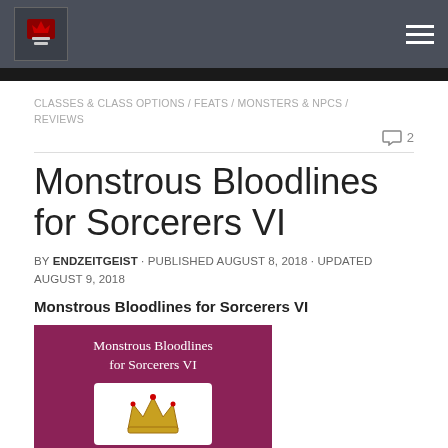Site header with logo and hamburger menu
CLASSES & CLASS OPTIONS / FEATS / MONSTERS & NPCS / REVIEWS
2
Monstrous Bloodlines for Sorcerers VI
BY ENDZEITGEIST · PUBLISHED AUGUST 8, 2018 · UPDATED AUGUST 9, 2018
Monstrous Bloodlines for Sorcerers VI
[Figure (illustration): Book cover with purple/magenta background showing 'Monstrous Bloodlines for Sorcerers VI' text and a white inset panel with a crown/monster illustration]